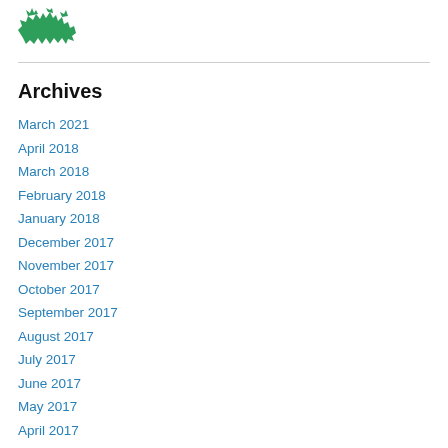[Figure (logo): Green spiky/jagged animal logo icon]
Archives
March 2021
April 2018
March 2018
February 2018
January 2018
December 2017
November 2017
October 2017
September 2017
August 2017
July 2017
June 2017
May 2017
April 2017
March 2017